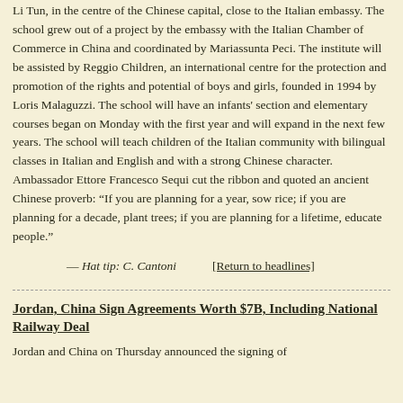Li Tun, in the centre of the Chinese capital, close to the Italian embassy. The school grew out of a project by the embassy with the Italian Chamber of Commerce in China and coordinated by Mariassunta Peci. The institute will be assisted by Reggio Children, an international centre for the protection and promotion of the rights and potential of boys and girls, founded in 1994 by Loris Malaguzzi. The school will have an infants' section and elementary courses began on Monday with the first year and will expand in the next few years. The school will teach children of the Italian community with bilingual classes in Italian and English and with a strong Chinese character. Ambassador Ettore Francesco Sequi cut the ribbon and quoted an ancient Chinese proverb: “If you are planning for a year, sow rice; if you are planning for a decade, plant trees; if you are planning for a lifetime, educate people.”
— Hat tip: C. Cantoni    [Return to headlines]
Jordan, China Sign Agreements Worth $7B, Including National Railway Deal
Jordan and China on Thursday announced the signing of